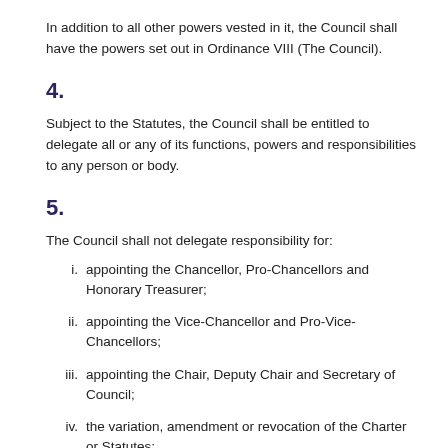In addition to all other powers vested in it, the Council shall have the powers set out in Ordinance VIII (The Council).
4.
Subject to the Statutes, the Council shall be entitled to delegate all or any of its functions, powers and responsibilities to any person or body.
5.
The Council shall not delegate responsibility for:
i.  appointing the Chancellor, Pro-Chancellors and Honorary Treasurer;
ii.  appointing the Vice-Chancellor and Pro-Vice-Chancellors;
iii.  appointing the Chair, Deputy Chair and Secretary of Council;
iv.  the variation, amendment or revocation of the Charter or Statutes;